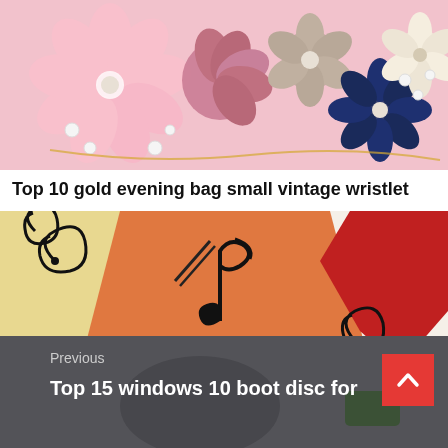[Figure (photo): Fabric or felt flowers in pink, mauve, taupe, navy and cream with pearl embellishments on a pink background]
Top 10 gold evening bag small vintage wristlet
[Figure (illustration): Colorful stylized illustration with orange, red, cream and black decorative shapes resembling a vintage art deco design]
The 10 best piano adventures level 2a classics for 2019
[Figure (screenshot): Navigation area showing 'Previous' label and title 'Top 15 windows 10 boot disc for' overlaid on a photo with cartoon characters, with a red scroll-up button]
Previous
Top 15 windows 10 boot disc for